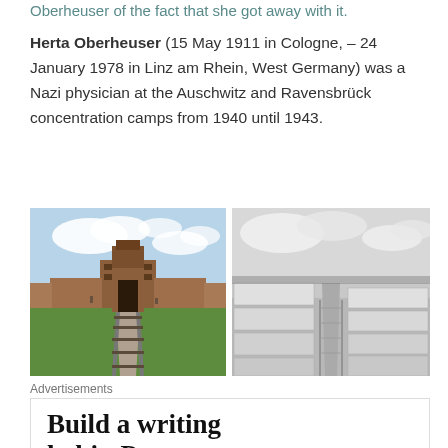Oberheuser of the fact that she got away with it.
Herta Oberheuser (15 May 1911 in Cologne, – 24 January 1978 in Linz am Rhein, West Germany) was a Nazi physician at the Auschwitz and Ravensbrück concentration camps from 1940 until 1943.
[Figure (photo): Color photograph of the Auschwitz concentration camp entrance gate with railway tracks leading to it, green grass on sides, red brick building with tower in background under blue sky with clouds.]
[Figure (photo): Black and white photograph of Ravensbrück concentration camp showing rows of barracks buildings extending into the distance under cloudy sky.]
Advertisements
Build a writing habit. Post on